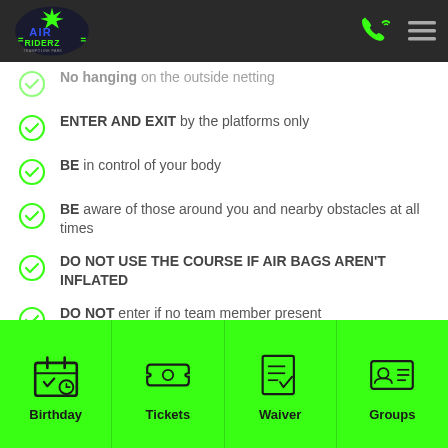Air Riderz logo and navigation header
No hanging on the outside netting
ENTER AND EXIT by the platforms only
BE in control of your body
BE aware of those around you and nearby obstacles at all times
DO NOT USE THE COURSE IF AIR BAGS AREN'T INFLATED
DO NOT enter if no team member present
Birthday | Tickets | Waiver | Groups